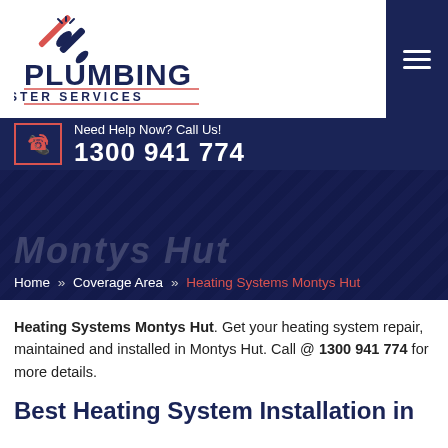[Figure (logo): Plumbing Master Services logo with wrench and screwdriver icon above bold text PLUMBING MASTER SERVICES]
Need Help Now? Call Us! 1300 941 774
[Figure (screenshot): Dark blue hero banner with partially visible large italic text 'Montys Hut' watermark and breadcrumb navigation showing: Home » Coverage Area » Heating Systems Montys Hut]
Heating Systems Montys Hut. Get your heating system repair, maintained and installed in Montys Hut. Call @ 1300 941 774 for more details.
Best Heating System Installation in